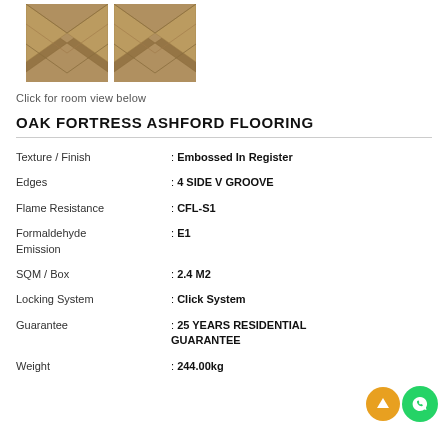[Figure (photo): Two chevron/herringbone pattern wood flooring sample images side by side]
Click for room view below
OAK FORTRESS ASHFORD FLOORING
| Property | Value |
| --- | --- |
| Texture / Finish | : Embossed In Register |
| Edges | : 4 SIDE V GROOVE |
| Flame Resistance | : CFL-S1 |
| Formaldehyde Emission | : E1 |
| SQM / Box | : 2.4 M2 |
| Locking System | : Click System |
| Guarantee | : 25 YEARS RESIDENTIAL GUARANTEE |
| Weight | : 244.00kg |